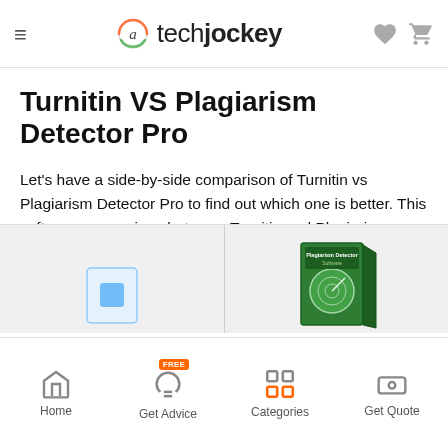techjockey
Turnitin VS Plagiarism Detector Pro
Let's have a side-by-side comparison of Turnitin vs Plagiarism Detector Pro to find out which one is better. This software comparison between Turnitin and Plagiarism Detector Pro is based on genuine user reviews. Compare software prices, features, support, ease of use, and user reviews to make the best choice between these, and decide whether Turnitin or Plagiarism Detector Pro fits your business.
[Figure (screenshot): Bottom product image area showing two product columns on a gray background - left column partially visible with a Turnitin-related image, right column showing a Plagiarism Detector Pro green box software package]
Home | Get Advice | Categories | Get Quote